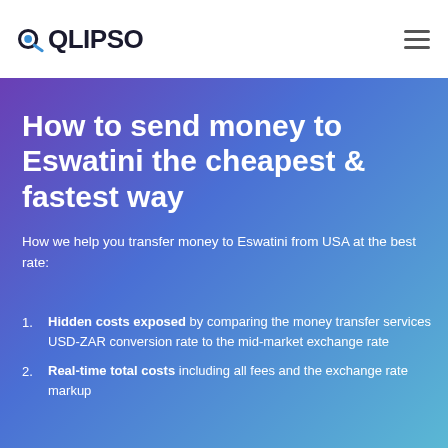QLIPSO
How to send money to Eswatini the cheapest & fastest way
How we help you transfer money to Eswatini from USA at the best rate:
Hidden costs exposed by comparing the money transfer services USD-ZAR conversion rate to the mid-market exchange rate
Real-time total costs including all fees and the exchange rate markup